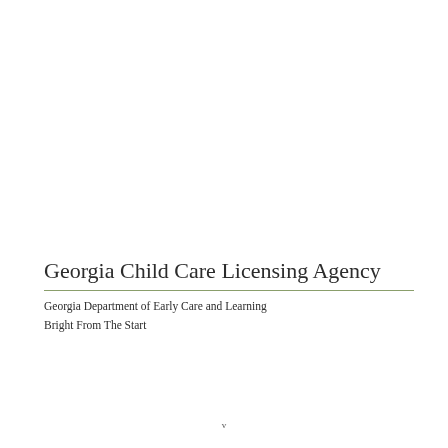Georgia Child Care Licensing Agency
Georgia Department of Early Care and Learning
Bright From The Start
v